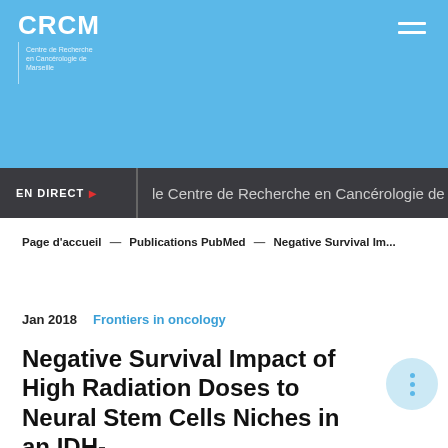CRCM — Centre de Recherche en Cancérologie de Marseille
EN DIRECT ▶ le Centre de Recherche en Cancérologie de Marseille
Page d'accueil — Publications PubMed — Negative Survival Im...
Jan 2018   Frontiers in oncology
Negative Survival Impact of High Radiation Doses to Neural Stem Cells Niches in an IDH-